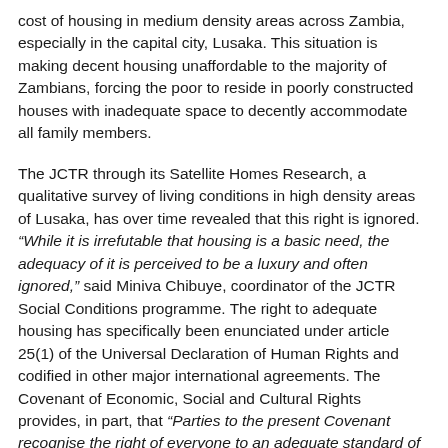cost of housing in medium density areas across Zambia, especially in the capital city, Lusaka. This situation is making decent housing unaffordable to the majority of Zambians, forcing the poor to reside in poorly constructed houses with inadequate space to decently accommodate all family members.
The JCTR through its Satellite Homes Research, a qualitative survey of living conditions in high density areas of Lusaka, has over time revealed that this right is ignored. “While it is irrefutable that housing is a basic need, the adequacy of it is perceived to be a luxury and often ignored,” said Miniva Chibuye, coordinator of the JCTR Social Conditions programme. The right to adequate housing has specifically been enunciated under article 25(1) of the Universal Declaration of Human Rights and codified in other major international agreements. The Covenant of Economic, Social and Cultural Rights provides, in part, that “Parties to the present Covenant recognise the right of everyone to an adequate standard of living for himself and his